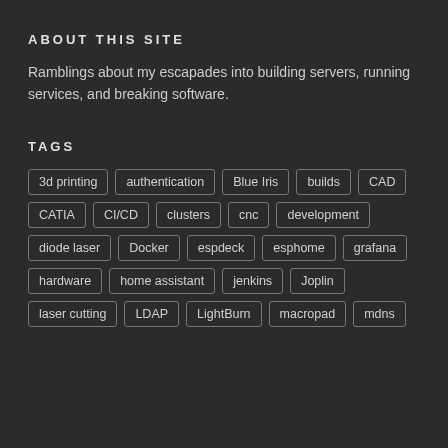ABOUT THIS SITE
Ramblings about my escapades into building servers, running services, and breaking software.
TAGS
3d printing
authentication
Blue Iris
builds
CAD
CATIA
CI/CD
clusters
cnc
development
diode laser
Docker
espdeck
esphome
grafana
hardware
home assistant
jenkins
Joplin
laser cutting
LDAP
LightBurn
macropad
mdns